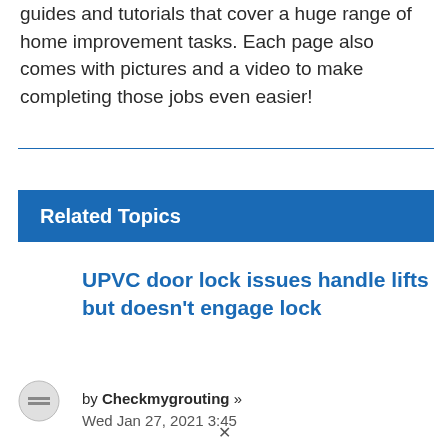guides and tutorials that cover a huge range of home improvement tasks. Each page also comes with pictures and a video to make completing those jobs even easier!
Related Topics
UPVC door lock issues handle lifts but doesn't engage lock
by Checkmygrouting »
Wed Jan 27, 2021 3:45